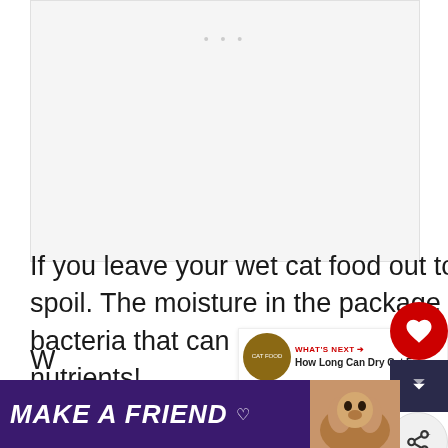[Figure (other): Advertisement placeholder with three dots visible at top]
If you leave your wet cat food out too long, it will likely go bad or spoil. The moisture in the package and warm temperature invites bacteria that can grow quickly to contaminate those precious nutrients!
[Figure (other): MAKE A FRIEND advertisement banner at bottom with dog image, purple background, and close button]